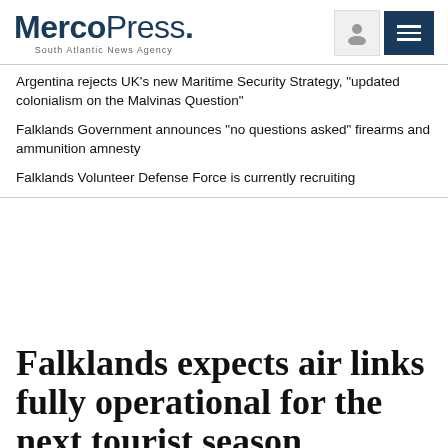MercoPress. South Atlantic News Agency
Argentina rejects UK's new Maritime Security Strategy, “updated colonialism on the Malvinas Question”
Falklands Government announces “no questions asked” firearms and ammunition amnesty
Falklands Volunteer Defense Force is currently recruiting
Falklands expects air links fully operational for the next tourist season